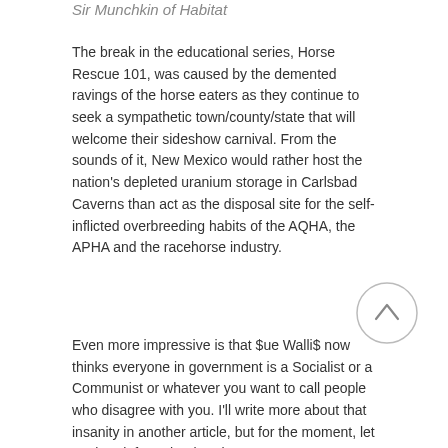Sir Munchkin of Habitat
The break in the educational series, Horse Rescue 101, was caused by the demented ravings of the horse eaters as they continue to seek a sympathetic town/county/state that will welcome their sideshow carnival. From the sounds of it, New Mexico would rather host the nation's depleted uranium storage in Carlsbad Caverns than act as the disposal site for the self-inflicted overbreeding habits of the AQHA, the APHA and the racehorse industry.
Even more impressive is that $ue Walli$ now thinks everyone in government is a Socialist or a Communist or whatever you want to call people who disagree with you. I'll write more about that insanity in another article, but for the moment, let me break from that break to